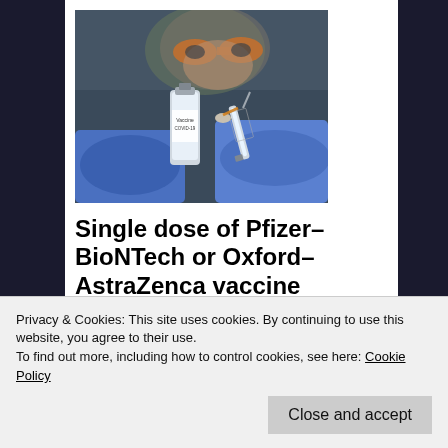[Figure (photo): Close-up photo of gloved hands holding a COVID-19 vaccine vial and syringe, with a person wearing orange-tinted safety goggles visible in the background.]
Single dose of Pfizer–BioNTech or Oxford–AstraZenca vaccine reduces infection rate by 65%, study
Privacy & Cookies: This site uses cookies. By continuing to use this website, you agree to their use.
To find out more, including how to control cookies, see here: Cookie Policy